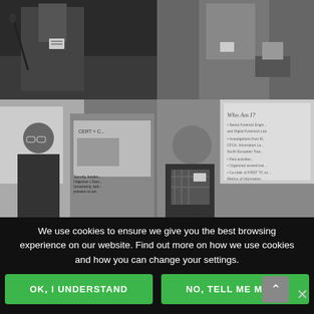[Figure (photo): Top-left grayscale photo of a person in a suit with a conference badge at a podium with a microphone.]
[Figure (photo): Top-right grayscale photo of a person in a suit with a conference badge.]
[Figure (photo): Bottom-left grayscale photo of a man with glasses speaking at a conference, with a presentation slide visible in the background showing 'CERT' and 'Security Incident Objective + Dama Uncertainty, lack... pression to act.']
[Figure (photo): Bottom-right grayscale photo of a man standing in front of a projection screen showing a slide titled 'Who Am I?' with bullet points.]
We use cookies to ensure we give you the best browsing experience on our website. Find out more on how we use cookies and how you can change your settings.
OK, I UNDERSTAND
NO, TELL ME MORE